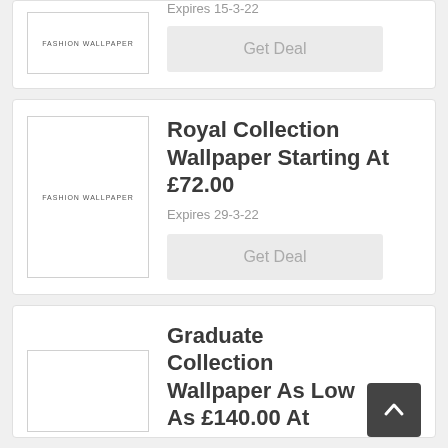[Figure (logo): Fashion Wallpaper logo/image placeholder, partial card at top]
Expires 15-3-22
Get Deal
[Figure (logo): Fashion Wallpaper logo in white box with text FASHION WALLPAPER]
Royal Collection Wallpaper Starting At £72.00
Expires 29-3-22
Get Deal
[Figure (logo): Fashion Wallpaper logo placeholder, partial card at bottom]
Graduate Collection Wallpaper As Low As £140.00 At Fashion Wallpaper